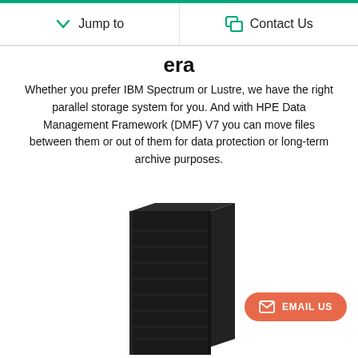Jump to   Contact Us
era
Whether you prefer IBM Spectrum or Lustre, we have the right parallel storage system for you. And with HPE Data Management Framework (DMF) V7 you can move files between them or out of them for data protection or long-term archive purposes.
[Figure (photo): A tall black server storage unit or tape library appliance, shown from the front, against a white background.]
EMAIL US